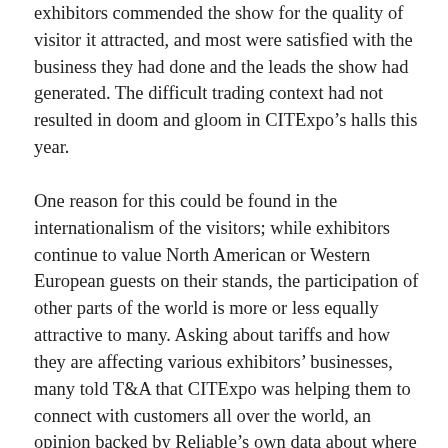exhibitors commended the show for the quality of visitor it attracted, and most were satisfied with the business they had done and the leads the show had generated. The difficult trading context had not resulted in doom and gloom in CITExpo’s halls this year.
One reason for this could be found in the internationalism of the visitors; while exhibitors continue to value North American or Western European guests on their stands, the participation of other parts of the world is more or less equally attractive to many. Asking about tariffs and how they are affecting various exhibitors’ businesses, many told T&A that CITExpo was helping them to connect with customers all over the world, an opinion backed by Reliable’s own data about where CITExpo visitors come from. While North America and Western Europe account for 10 and nine per cent respectively, the